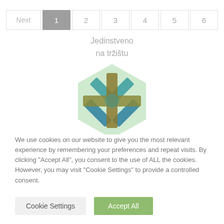[Figure (other): Pagination navigation bar with buttons: Next, 1 (active/highlighted), 2, 3, 4, 5, 6]
Jedinstveno
na tržištu
[Figure (logo): Stylized logo: hexagon shape in light green with overlapping cross/asterisk shapes in teal/blue, olive/khaki, and dark teal colors]
We use cookies on our website to give you the most relevant experience by remembering your preferences and repeat visits. By clicking "Accept All", you consent to the use of ALL the cookies. However, you may visit "Cookie Settings" to provide a controlled consent.
[Figure (other): Two buttons: 'Cookie Settings' (gray background) and 'Accept All' (green background)]